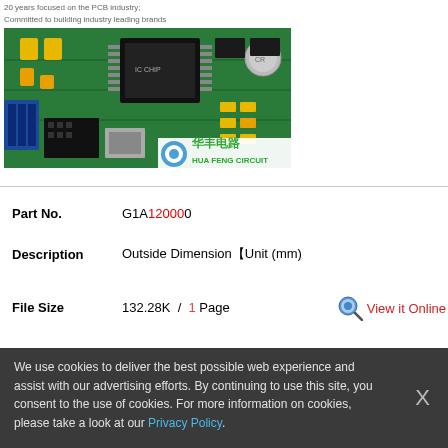20 years focused on the PCB industry;
Committed to building industry leading brands
[Figure (photo): Close-up photo of a green PCB (printed circuit board) with various electronic components including ICs, capacitors, and connectors. Overlaid with Hua Feng Circuit logo and brand name in Chinese characters (华丰电路) and English HUA FENG CIRCUIT with a blue circular logo icon.]
Part No.    G1A120000
Description    Outside Dimension【Unit (mm)
File Size    132.28K  /  1 Page
View it Online
We use cookies to deliver the best possible web experience and assist with our advertising efforts. By continuing to use this site, you consent to the use of cookies. For more information on cookies, please take a look at our Privacy Policy.